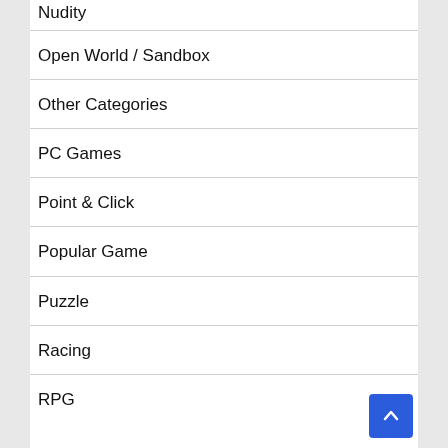Nudity
Open World / Sandbox
Other Categories
PC Games
Point & Click
Popular Game
Puzzle
Racing
RPG